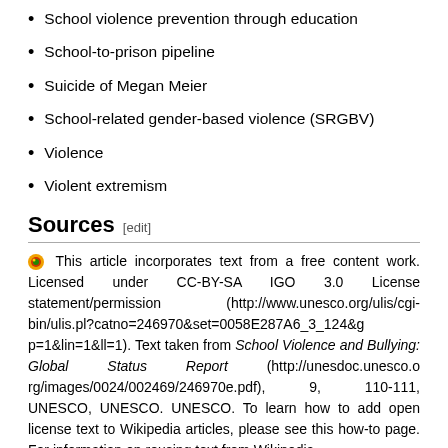School violence prevention through education
School-to-prison pipeline
Suicide of Megan Meier
School-related gender-based violence (SRGBV)
Violence
Violent extremism
Sources  [edit]
This article incorporates text from a free content work. Licensed under CC-BY-SA IGO 3.0 License statement/permission (http://www.unesco.org/ulis/cgi-bin/ulis.pl?catno=246970&set=0058E287A6_3_124&gp=1&lin=1&ll=1). Text taken from School Violence and Bullying: Global Status Report (http://unesdoc.unesco.org/images/0024/002469/246970e.pdf), 9, 110-111, UNESCO, UNESCO. UNESCO. To learn how to add open license text to Wikipedia articles, please see this how-to page. For information on reusing text from Wikipedia,